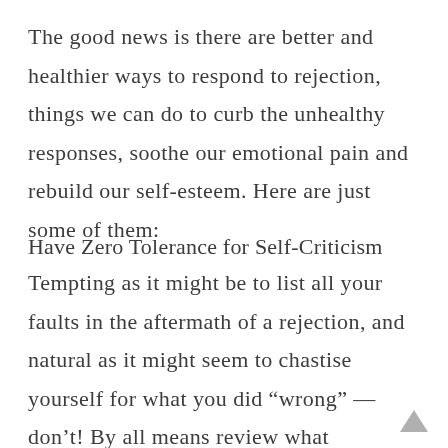The good news is there are better and healthier ways to respond to rejection, things we can do to curb the unhealthy responses, soothe our emotional pain and rebuild our self-esteem. Here are just some of them:
Have Zero Tolerance for Self-Criticism
Tempting as it might be to list all your faults in the aftermath of a rejection, and natural as it might seem to chastise yourself for what you did "wrong" — don't! By all means review what happened and consider what you should do differently in the future, but there is absolutely no good reason to be punitive and self-critical